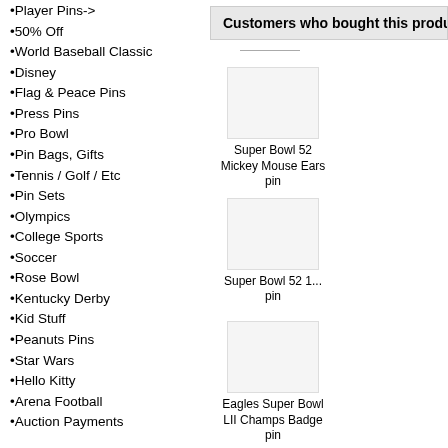•Player Pins->
•50% Off
•World Baseball Classic
•Disney
•Flag & Peace Pins
•Press Pins
•Pro Bowl
•Pin Bags, Gifts
•Tennis / Golf / Etc
•Pin Sets
•Olympics
•College Sports
•Soccer
•Rose Bowl
•Kentucky Derby
•Kid Stuff
•Peanuts Pins
•Star Wars
•Hello Kitty
•Arena Football
•Auction Payments
Information
• About Us
• Contact Us
• FAQ
• Privacy Notice
• Shipping and Returns
• Site Map
Customers who bought this product also purcha...
Super Bowl 52 Mickey Mouse Ears pin
Super Bowl 52 1... pin
Eagles Super Bowl LII Champs Badge pin
Super Bowl LII...